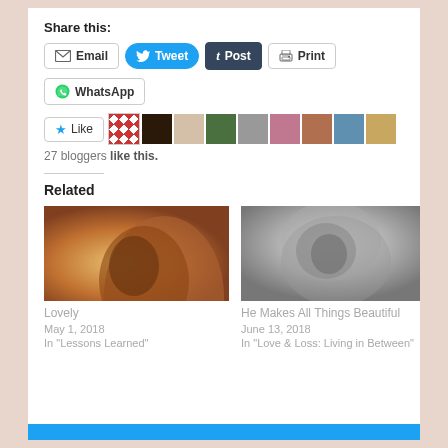Share this:
Email | Tweet | Post | Print
WhatsApp
Like | 27 bloggers like this.
Related
[Figure (photo): Profile photo of woman with warm yellow/amber background]
Lovely
May 1, 2018
In "Lessons Learned"
[Figure (photo): Black and white close-up photo of person in white hood looking up]
He Makes All Things Beautiful
June 13, 2018
In "Love & Loss: Living in Between"